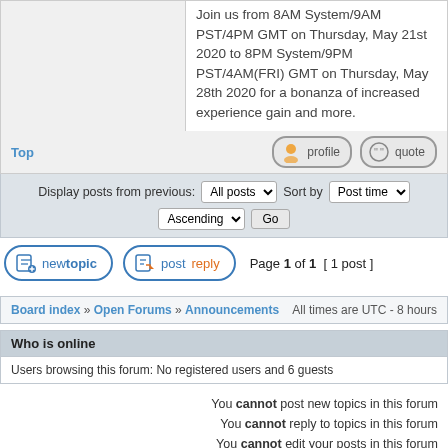Join us from 8AM System/9AM PST/4PM GMT on Thursday, May 21st 2020 to 8PM System/9PM PST/4AM(FRI) GMT on Thursday, May 28th 2020 for a bonanza of increased experience gain and more.
Top  profile  quote
Display posts from previous: All posts  Sort by Post time  Ascending  Go
newtopic  postreply  Page 1 of 1  [ 1 post ]
Board index » Open Forums » Announcements   All times are UTC - 8 hours
Who is online
Users browsing this forum: No registered users and 6 guests
You cannot post new topics in this forum
You cannot reply to topics in this forum
You cannot edit your posts in this forum
You cannot delete your posts in this forum
Search for:   Go
Powered by phpBB © 2000, 2002, 2005, 2007 phpBB Group